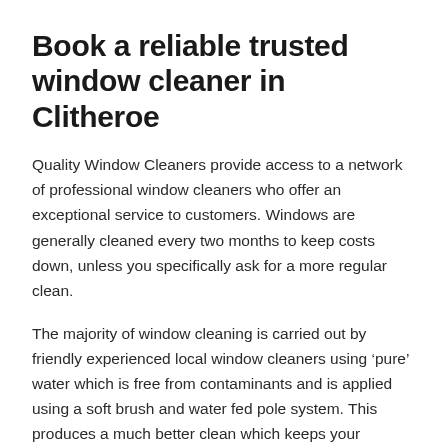Book a reliable trusted window cleaner in Clitheroe
Quality Window Cleaners provide access to a network of professional window cleaners who offer an exceptional service to customers. Windows are generally cleaned every two months to keep costs down, unless you specifically ask for a more regular clean.
The majority of window cleaning is carried out by friendly experienced local window cleaners using ‘pure’ water which is free from contaminants and is applied using a soft brush and water fed pole system. This produces a much better clean which keeps your windows cleaner for longer, therefore they do not require cleaning as often as they would using traditional methods. Traditional cleaning is also